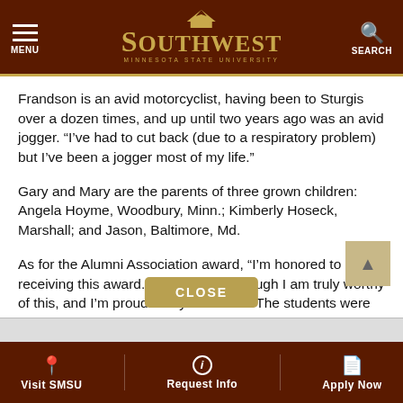MENU | SOUTHWEST MINNESOTA STATE UNIVERSITY | SEARCH
Frandson is an avid motorcyclist, having been to Sturgis over a dozen times, and up until two years ago was an avid jogger. “I’ve had to cut back (due to a respiratory problem) but I’ve been a jogger most of my life.”
Gary and Mary are the parents of three grown children: Angela Hoyme, Woodbury, Minn.; Kimberly Hoseck, Marshall; and Jason, Baltimore, Md.
As for the Alumni Association award, “I’m honored to be receiving this award. I don’t feel as though I am truly worthy of this, and I’m proud of my time here. The students were always first at SMSU.”
Visit SMSU | Request Info | Apply Now